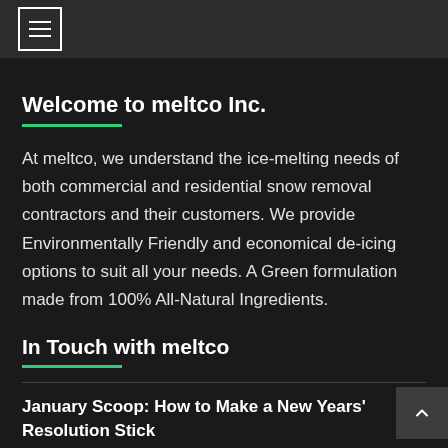[menu icon]
Welcome to meltco Inc.
At meltco, we understand the ice-melting needs of both commercial and residential snow removal contractors and their customers. We provide Environmentally Friendly and economical de-icing options to suit all your needs. A Green formulation made from 100% All-Natural Ingredients.
In Touch with meltco
January Scoop: How to Make a New Years' Resolution Stick
December Scoop: The Right Way to Prepare for a